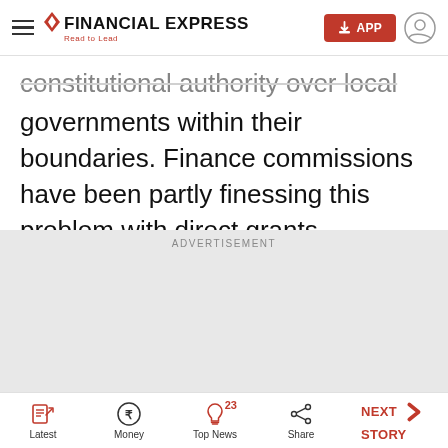Financial Express — Read to Lead
constitutional authority over local governments within their boundaries. Finance commissions have been partly finessing this problem with direct grants.
ADVERTISEMENT
Latest | Money | Top News (23) | Share | NEXT STORY